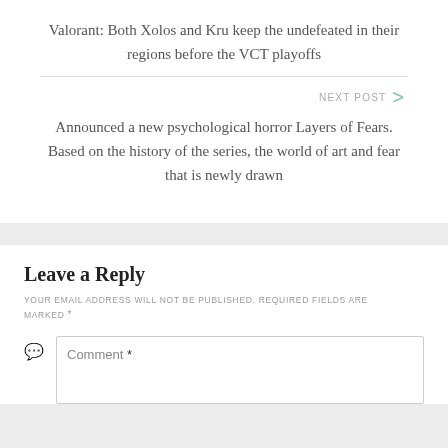Valorant: Both Xolos and Kru keep the undefeated in their regions before the VCT playoffs
NEXT POST
Announced a new psychological horror Layers of Fears. Based on the history of the series, the world of art and fear that is newly drawn
Leave a Reply
YOUR EMAIL ADDRESS WILL NOT BE PUBLISHED. REQUIRED FIELDS ARE MARKED *
Comment *